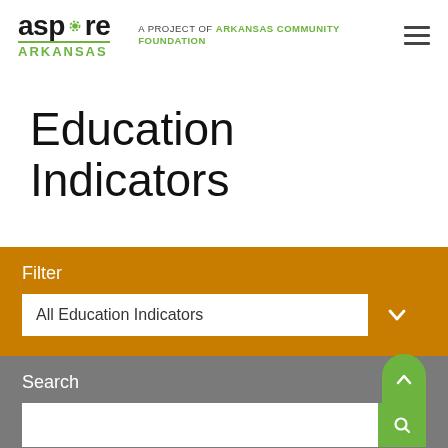[Figure (logo): Aspire Arkansas logo with gear icon and green ARKANSAS text, with tagline 'A Project of Arkansas Community Foundation']
Education Indicators
Filter
All Education Indicators
Search